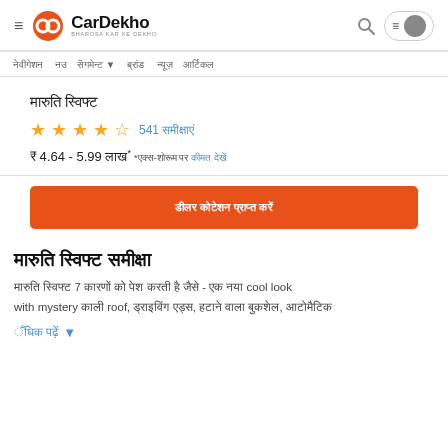CarDekho - BHAROSA KAR KE DEKHO
Navigation menu items
मारुति स्विफ्ट
★★★★☆ 541 समीक्षाएं
₹ 4.64 - 5.99 लाख* *एक्स-शोरूम पर कीमत देखें
डीलर कोटेशन प्राप्त करें
मारुति स्विफ्ट समीक्षा
मारुति स्विफ्ट 7 कारणों को पेश करती है जैसे - एक नया cool look with mystery काली roof, ड्राइविंग एड्स, हटाने वाला बुकशेल, ऑटोमेटिक
अधिक पढ़ें ▾